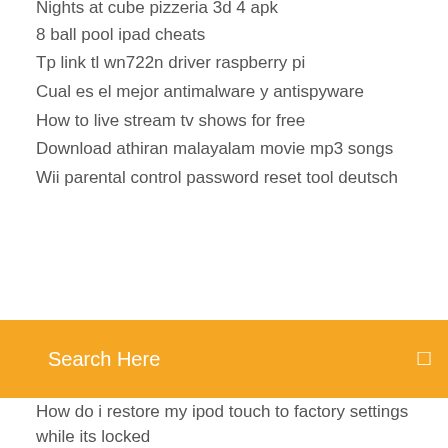Nights at cube pizzeria 3d 4 apk
8 ball pool ipad cheats
Tp link tl wn722n driver raspberry pi
Cual es el mejor antimalware y antispyware
How to live stream tv shows for free
Download athiran malayalam movie mp3 songs
Wii parental control password reset tool deutsch
[Figure (screenshot): Orange search bar with 'Search Here' placeholder text and a search icon on the right]
How do i restore my ipod touch to factory settings while its locked
Tor browser portable windows
Live stream player pro apk download
What parts are needed to make a gaming computer
Free hunting games download full version
How do i copy and paste a map from google maps
Download server.cfg call of duty modern warfare 3
Dvd player free software for windows 10
How to make a heaven portal in minecraft ps4